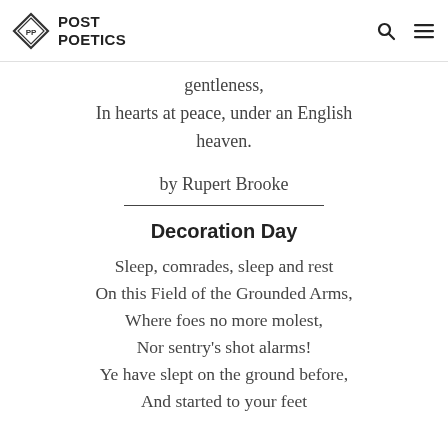POST POETICS
gentleness,
In hearts at peace, under an English heaven.
by Rupert Brooke
Decoration Day
Sleep, comrades, sleep and rest
On this Field of the Grounded Arms,
Where foes no more molest,
Nor sentry’s shot alarms!
Ye have slept on the ground before,
And started to your feet